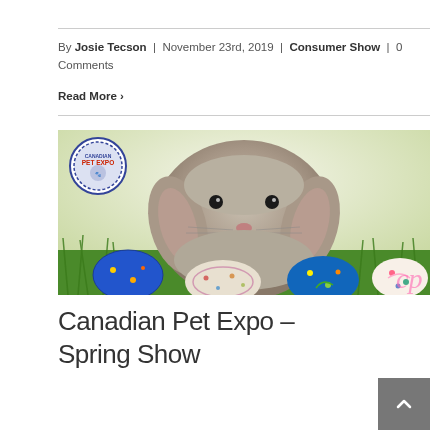By Josie Tecson | November 23rd, 2019 | Consumer Show | 0 Comments
Read More >
[Figure (photo): A fluffy grey lop-eared rabbit surrounded by colorful Easter eggs in green grass. Canadian Pet Expo logo in top-left corner, 'cp' watermark in bottom-right corner.]
Canadian Pet Expo – Spring Show